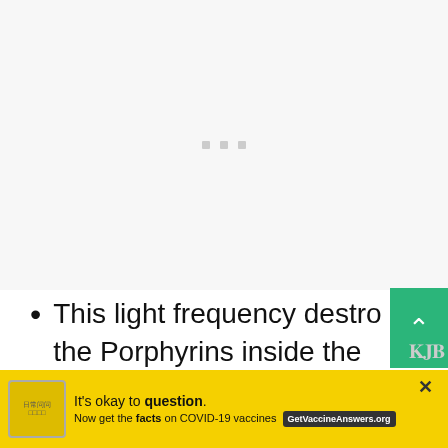[Figure (other): Light gray placeholder area with three small square dots centered near top]
This light frequency destroys the Porphyrins inside the bacteria that cause acne. This
[Figure (other): Advertisement banner: yellow background with COVID-19 vaccine information. Text: It's okay to question. Now get the facts on COVID-19 vaccines. GetVaccineAnswers.org]